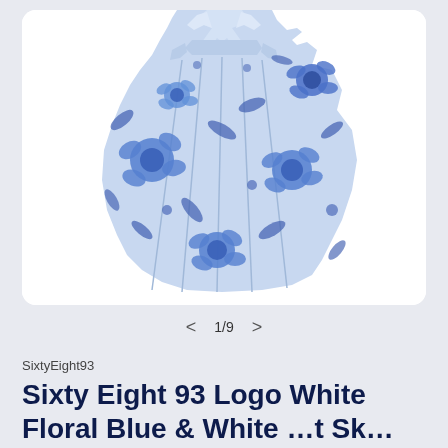[Figure (photo): Product photo of a blue and white floral pleated midi dress/skirt on a white background card. The garment shows a light blue fabric with bold blue floral print pattern, featuring a collar detail at the top and a flared pleated skirt silhouette.]
< 1/9 >
SixtyEight93
Sixty Eight 93 Logo White Floral Blue & White …t Sk… Midi D…